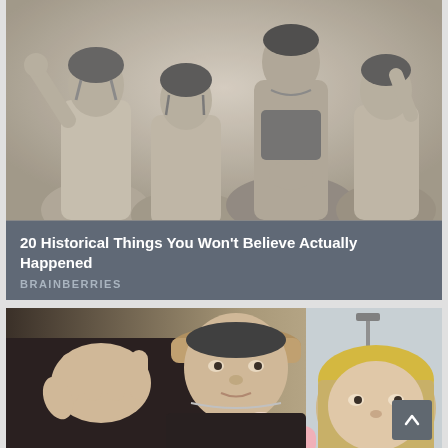[Figure (photo): Black and white vintage photo of four women in swimsuits posing together, one with arm raised]
20 Historical Things You Won't Believe Actually Happened
BRAINBERRIES
[Figure (photo): Color photo of a young man in a cap and a blonde woman with a newborn baby in a hospital setting]